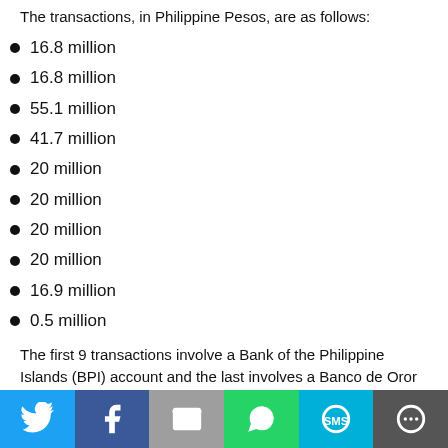The transactions, in Philippine Pesos, are as follows:
16.8 million
16.8 million
55.1 million
41.7 million
20 million
20 million
20 million
20 million
16.9 million
0.5 million
The first 9 transactions involve a Bank of the Philippine Islands (BPI) account and the last involves a Banco de Oror (BDO) account. Both are joint accounts under the names of Rodrigo Roa Duterte and his daughter Sara Zimmerman